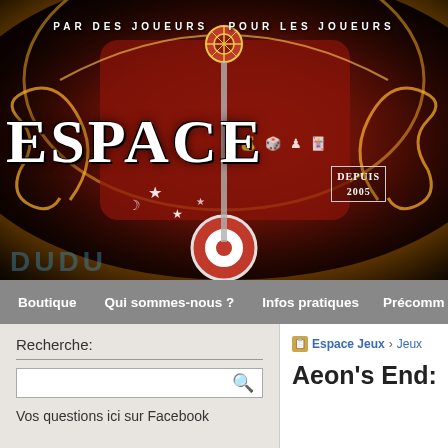[Figure (photo): Hero banner photograph of an illuminated game store sign reading 'ESPACE JEUX' with decorative ornamental design, red background with gold glowing borders, icons for board games, and text 'PAR DES JOUEURS POUR LES JOUEURS' in an arc at the top, with 'DEPUIS 2005' badge]
Boutique | Qui sommes-nous ? | Infos pratiques | Précomm...
Recherche:
Vos questions ici sur Facebook
Espace Jeux › Jeux
Aeon's End: L...